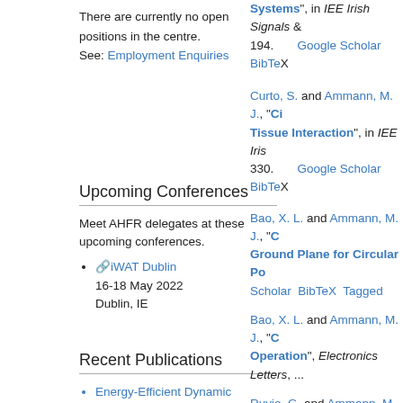There are currently no open positions in the centre.
See: Employment Enquiries
Upcoming Conferences
Meet AHFR delegates at these upcoming conferences.
iWAT Dublin
16-18 May 2022
Dublin, IE
Recent Publications
Energy-Efficient Dynamic Directional Modulation with Electrically Small Antennas
A Broadband Circularly Polarised Slot Antenna for
Systems", in IEE Irish Signals &
194.   Google Scholar  BibTeX
Curto, S. and Ammann, M. J., "Ci... Tissue Interaction", in IEE Iris...
330.   Google Scholar  BibTeX
Bao, X. L. and Ammann, M. J., "C... Ground Plane for Circular Po...
Scholar  BibTeX  Tagged
Bao, X. L. and Ammann, M. J., "C... Operation", Electronics Letters, ...
Ruvio, G. and Ammann, M. J., "A...
Workshop on Antenna Technology:...
87.   Google Scholar  BibTeX
Junker, M., Ammann, M. J., Schw...
Brillouin Amplification and E... Wave Signal with Low Phase...
54, no. 4, pp. 1576-1581, 2006.
Bao, X. L. and Ammann, M. J., "C...